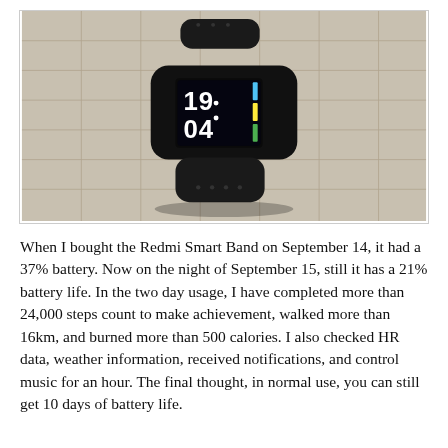[Figure (photo): Photo of a black Redmi Smart Band fitness tracker lying on a tiled surface. The band's display shows the time 19:04 with colorful accent bars.]
When I bought the Redmi Smart Band on September 14, it had a 37% battery. Now on the night of September 15, still it has a 21% battery life. In the two day usage, I have completed more than 24,000 steps count to make achievement, walked more than 16km, and burned more than 500 calories. I also checked HR data, weather information, received notifications, and control music for an hour. The final thought, in normal use, you can still get 10 days of battery life.